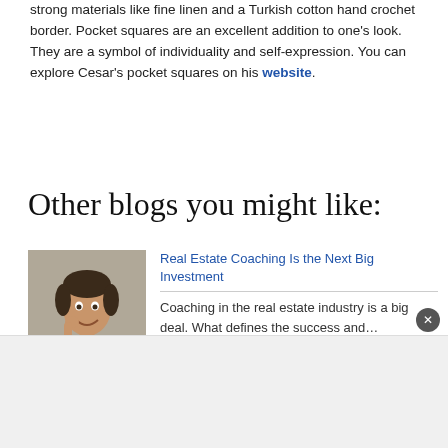strong materials like fine linen and a Turkish cotton hand crochet border. Pocket squares are an excellent addition to one's look. They are a symbol of individuality and self-expression. You can explore Cesar's pocket squares on his website.
Other blogs you might like:
[Figure (photo): Portrait photo of a young man in an orange shirt smiling, with hand near chin]
Real Estate Coaching Is the Next Big Investment
Coaching in the real estate industry is a big deal. What defines the success and…
[Figure (photo): Photo of a tall modern office building with people standing in front]
Real Estate Made Easy With Chris D. Bentley
Real estate investing- does it sound like your dream thing? Probably. Everyone wants to retire…